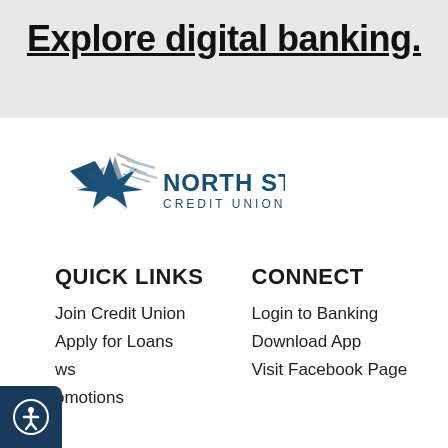Explore digital banking.
[Figure (logo): North Star Credit Union logo with star graphic and text 'NORTH STAR CREDIT UNION']
QUICK LINKS
CONNECT
Join Credit Union
Apply for Loans
ws
omotions
Login to Banking
Download App
Visit Facebook Page